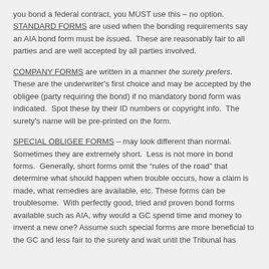you bond a federal contract, you MUST use this – no option. STANDARD FORMS are used when the bonding requirements say an AIA bond form must be issued.  These are reasonably fair to all parties and are well accepted by all parties involved.
COMPANY FORMS are written in a manner the surety prefers.  These are the underwriter's first choice and may be accepted by the obligee (party requiring the bond) if no mandatory bond form was indicated.  Spot these by their ID numbers or copyright info.  The surety's name will be pre-printed on the form.
SPECIAL OBLIGEE FORMS – may look different than normal.  Sometimes they are extremely short.  Less is not more in bond forms.  Generally, short forms omit the “rules of the road” that determine what should happen when trouble occurs, how a claim is made, what remedies are available, etc. These forms can be troublesome.  With perfectly good, tried and proven bond forms available such as AIA, why would a GC spend time and money to invent a new one? Assume such special forms are more beneficial to the GC and less fair to the surety and wait until the Tribunal has...